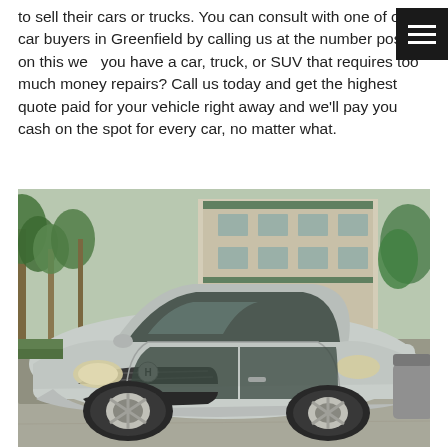to sell their cars or trucks. You can consult with one of our car buyers in Greenfield by calling us at the number posted on this web... you have a car, truck, or SUV that requires too much money... repairs? Call us today and get the highest quote paid for your vehicle right away and we'll pay you cash on the spot for every car, no matter what.
[Figure (photo): A silver Honda Civic coupe parked in a lot, photographed from a front three-quarter angle. Background shows a green and white building with palm trees and other vegetation.]